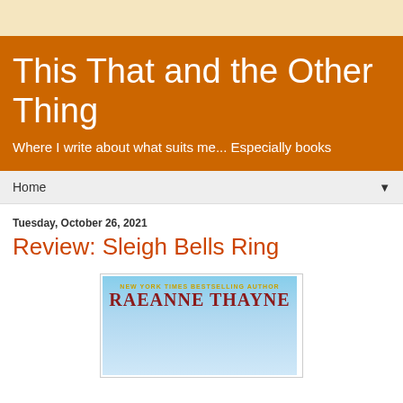This That and the Other Thing
Where I write about what suits me... Especially books
Home
Tuesday, October 26, 2021
Review: Sleigh Bells Ring
[Figure (photo): Book cover for Sleigh Bells Ring by RaeAnne Thayne, showing the author name on a light blue snowy background. Text reads: NEW YORK TIMES BESTSELLING AUTHOR RAEANNE THAYNE]